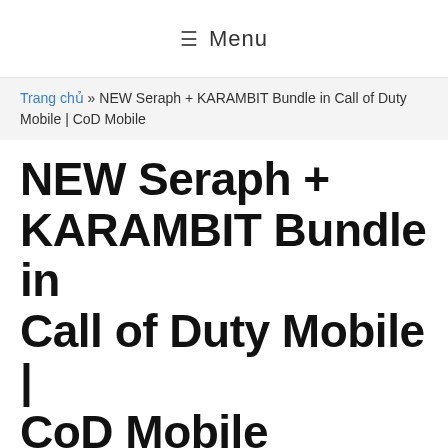≡ Menu
Trang chủ » NEW Seraph + KARAMBIT Bundle in Call of Duty Mobile | CoD Mobile
NEW Seraph + KARAMBIT Bundle in Call of Duty Mobile | CoD Mobile
Tháng Hai 2, 2021 Bởi JHC Gaming